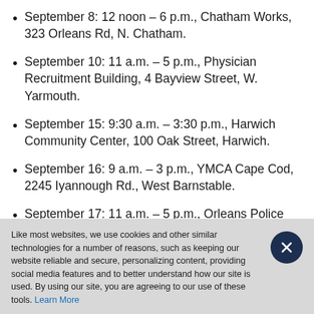September 8: 12 noon – 6 p.m., Chatham Works, 323 Orleans Rd, N. Chatham.
September 10: 11 a.m. – 5 p.m., Physician Recruitment Building, 4 Bayview Street, W. Yarmouth.
September 15: 9:30 a.m. – 3:30 p.m., Harwich Community Center, 100 Oak Street, Harwich.
September 16: 9 a.m. – 3 p.m., YMCA Cape Cod, 2245 Iyannough Rd., West Barnstable.
September 17: 11 a.m. – 5 p.m., Orleans Police Station, 99 Eldredge Parkway, Orleans.
Like most websites, we use cookies and other similar technologies for a number of reasons, such as keeping our website reliable and secure, personalizing content, providing social media features and to better understand how our site is used. By using our site, you are agreeing to our use of these tools. Learn More